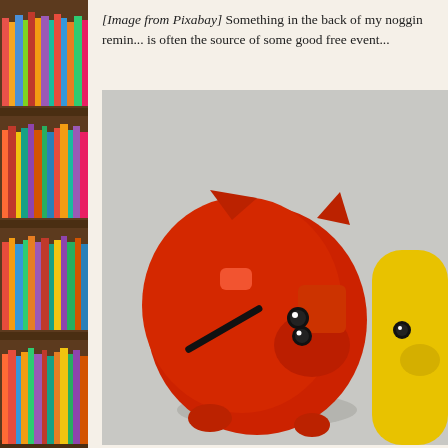[Figure (photo): Left sidebar showing a bookshelf filled with colorful books arranged on multiple shelves with dark brown wood]
[Image from Pixabay] Something in the back of my noggin remin... is often the source of some good free event...
[Figure (photo): Two piggy banks - one red plastic piggy bank facing forward with coin slot visible, and one yellow piggy bank partially visible on the right, photographed on a light gray background]